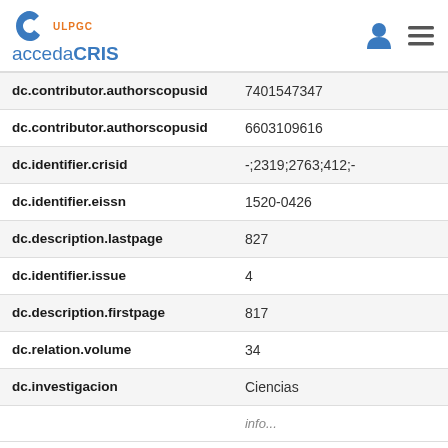ULPGC accedaCRIS
| Field | Value |
| --- | --- |
| dc.contributor.authorscopusid | 7401547347 |
| dc.contributor.authorscopusid | 6603109616 |
| dc.identifier.crisid | -;2319;2763;412;- |
| dc.identifier.eissn | 1520-0426 |
| dc.description.lastpage | 827 |
| dc.identifier.issue | 4 |
| dc.description.firstpage | 817 |
| dc.relation.volume | 34 |
| dc.investigacion | Ciencias |
|  | info... |